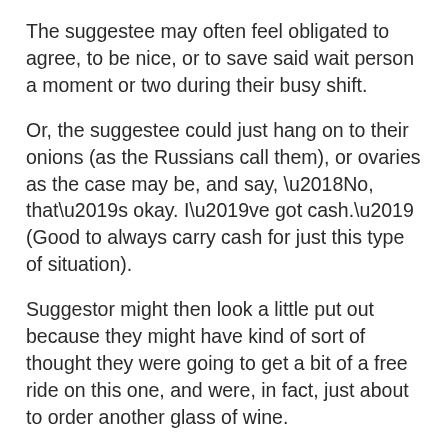The suggestee may often feel obligated to agree, to be nice, or to save said wait person a moment or two during their busy shift.
Or, the suggestee could just hang on to their onions (as the Russians call them), or ovaries as the case may be, and say, ‘No, that’s okay. I’ve got cash.’ (Good to always carry cash for just this type of situation).
Suggestor might then look a little put out because they might have kind of sort of thought they were going to get a bit of a free ride on this one, and were, in fact, just about to order another glass of wine.
Divorce should be like checks.
Houses